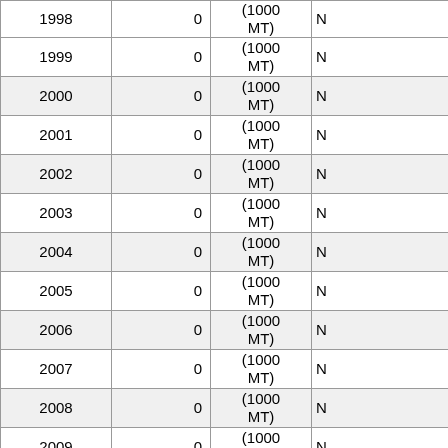| Year | Value | Unit |  |
| --- | --- | --- | --- |
| 1998 | 0 | (1000 MT) | N |
| 1999 | 0 | (1000 MT) | N |
| 2000 | 0 | (1000 MT) | N |
| 2001 | 0 | (1000 MT) | N |
| 2002 | 0 | (1000 MT) | N |
| 2003 | 0 | (1000 MT) | N |
| 2004 | 0 | (1000 MT) | N |
| 2005 | 0 | (1000 MT) | N |
| 2006 | 0 | (1000 MT) | N |
| 2007 | 0 | (1000 MT) | N |
| 2008 | 0 | (1000 MT) | N |
| 2009 | 0 | (1000 MT) | N |